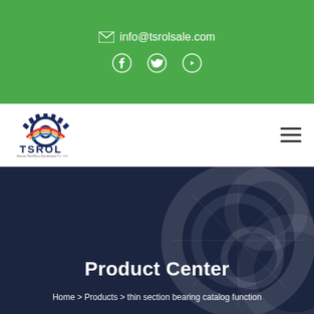info@tsrolsale.com
[Figure (logo): TSROL company logo with gear and rainbow arc icon]
Product Center
Home > Products > thin section bearing catalog function